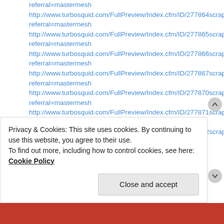referral=mastermesh
http://www.turbosquid.com/FullPreview/Index.cfm/ID/277864scrapes referral=mastermesh
http://www.turbosquid.com/FullPreview/Index.cfm/ID/277865scrapes referral=mastermesh
http://www.turbosquid.com/FullPreview/Index.cfm/ID/277866scrapes referral=mastermesh
http://www.turbosquid.com/FullPreview/Index.cfm/ID/277867scrapes referral=mastermesh
http://www.turbosquid.com/FullPreview/Index.cfm/ID/277870scrapes referral=mastermesh
http://www.turbosquid.com/FullPreview/Index.cfm/ID/277871scrapes referral=mastermesh
http://www.turbosquid.com/FullPreview/Index.cfm/ID/277872scrapes referral=mastermesh
Privacy & Cookies: This site uses cookies. By continuing to use this website, you agree to their use.
To find out more, including how to control cookies, see here: Cookie Policy